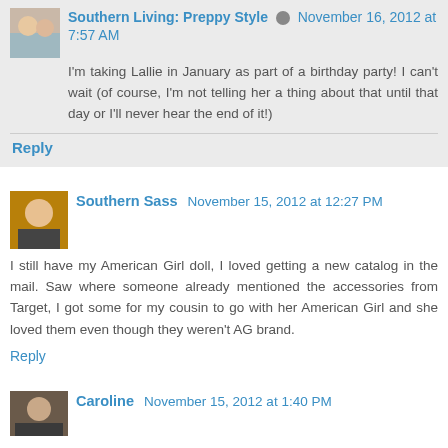Southern Living: Preppy Style  November 16, 2012 at 7:57 AM
I'm taking Lallie in January as part of a birthday party! I can't wait (of course, I'm not telling her a thing about that until that day or I'll never hear the end of it!)
Reply
Southern Sass  November 15, 2012 at 12:27 PM
I still have my American Girl doll, I loved getting a new catalog in the mail. Saw where someone already mentioned the accessories from Target, I got some for my cousin to go with her American Girl and she loved them even though they weren't AG brand.
Reply
Caroline  November 15, 2012 at 1:40 PM